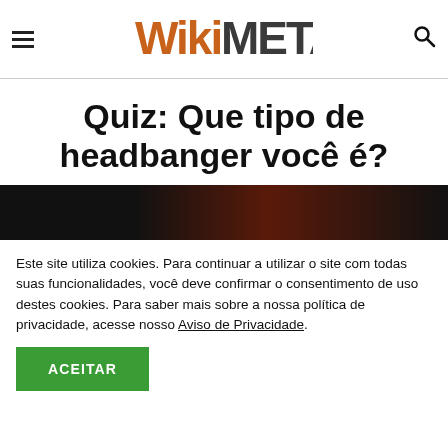WikiMetal [logo] — navigation header with hamburger menu and search icon
Quiz: Que tipo de headbanger você é?
[Figure (photo): Dark image strip showing a reddish/dark background, partial view of a person's head]
Este site utiliza cookies. Para continuar a utilizar o site com todas suas funcionalidades, você deve confirmar o consentimento de uso destes cookies. Para saber mais sobre a nossa política de privacidade, acesse nosso Aviso de Privacidade.
ACEITAR